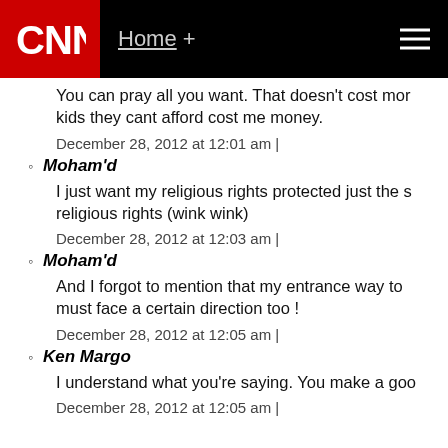CNN | Home +
You can pray all you want. That doesn't cost mor... kids they cant afford cost me money.
December 28, 2012 at 12:01 am |
Moham'd
I just want my religious rights protected just the s... religious rights (wink wink)
December 28, 2012 at 12:03 am |
Moham'd
And I forgot to mention that my entrance way to... must face a certain direction too !
December 28, 2012 at 12:05 am |
Ken Margo
I understand what you're saying. You make a goo...
December 28, 2012 at 12:05 am |